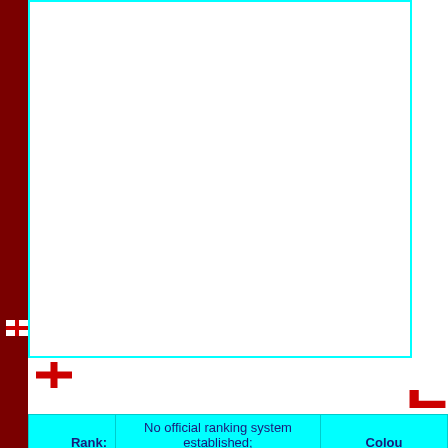[Figure (other): Top image area with cyan border, partially visible]
E
| Rank: | No official ranking system established; ELO rating 5th | Colours: |
| --- | --- | --- |
| Capt: | Bobby Moore, ninth captaincy | Manag... |
|  | Name | Age | DOB |
| --- | --- | --- | --- |
|  | Waiters, Anthony K. | 27 | 1 Feb... |
| 2 | Cohen, George |  |  |
| 3 | Thomson, Robert A. | 20 | 5 Dec... |
| 4 | Milne, Gordon | 27 | 29 M... |